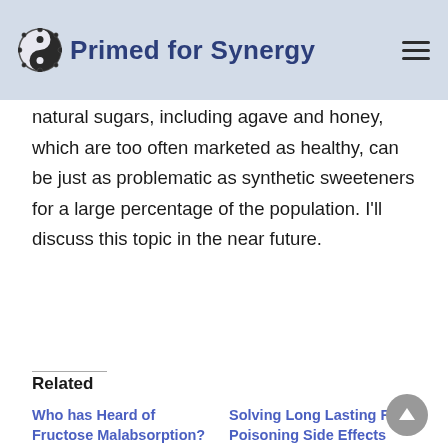Primed for Synergy
natural sugars, including agave and honey, which are too often marketed as healthy, can be just as problematic as synthetic sweeteners for a large percentage of the population. I'll discuss this topic in the near future.
Related
Who has Heard of Fructose Malabsorption?
August 1, 2012
In "On Health"
Solving Long Lasting Food Poisoning Side Effects
July 25, 2012
In "On Health"
Do Sugar Alcohols increase Lactose Intolerence?